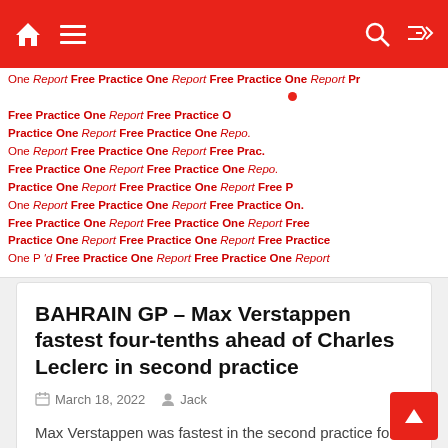Navigation bar with home, menu, search, and shuffle icons
One Report Free Practice One Report Free Practice One Report Pr Free Practice One Report Free Practice O Practice One Report Free Practice One Repo. One Report Free Practice One Report Free Prac. Free Practice One Report Free Practice One Repo Practice One Report Free Practice One Report Free P One Report Free Practice One Report Free Practice On. Free Practice One Report Free Practice One Report Free Practice One Report Free Practice One Report Free Free Practice One Report Free Practice One Report Free Practice One P  'd Free Practice One Report Free Practice One Report
BAHRAIN GP – Max Verstappen fastest four-tenths ahead of Charles Leclerc in second practice
March 18, 2022   Jack
Max Verstappen was fastest in the second practice for this weekend's season opening Bahrain Grand Prix. The Red Bull driver set a 31.936 on the soft   Read More...